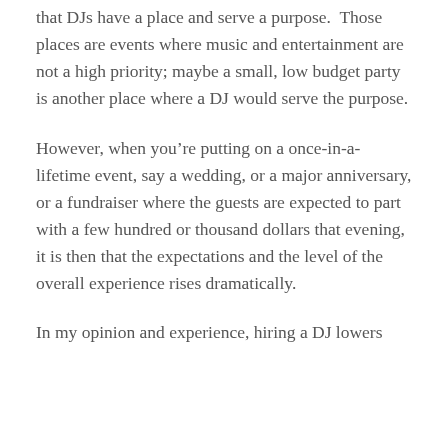that DJs have a place and serve a purpose. Those places are events where music and entertainment are not a high priority; maybe a small, low budget party is another place where a DJ would serve the purpose.
However, when you're putting on a once-in-a-lifetime event, say a wedding, or a major anniversary, or a fundraiser where the guests are expected to part with a few hundred or thousand dollars that evening, it is then that the expectations and the level of the overall experience rises dramatically.
In my opinion and experience, hiring a DJ lowers